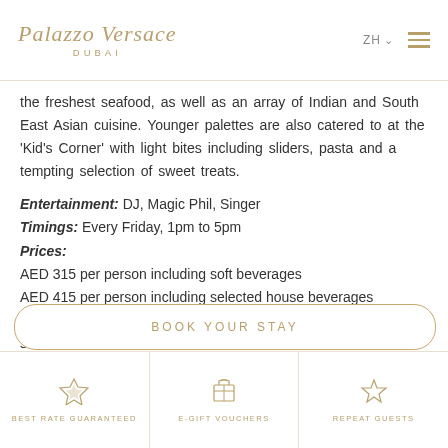Palazzo Versace DUBAI
the freshest seafood, as well as an array of Indian and South East Asian cuisine. Younger palettes are also catered to at the 'Kid's Corner' with light bites including sliders, pasta and a tempting selection of sweet treats.
Entertainment: DJ, Magic Phil, Singer
Timings: Every Friday, 1pm to 5pm
Prices:
AED 315 per person including soft beverages
AED 415 per person including selected house beverages
AED 515 per person including selected house beverages with sparkling wine
BOOK YOUR STAY
BEST RATE GUARANTEED
E-GIFT VOUCHERS
REPEAT GUESTS